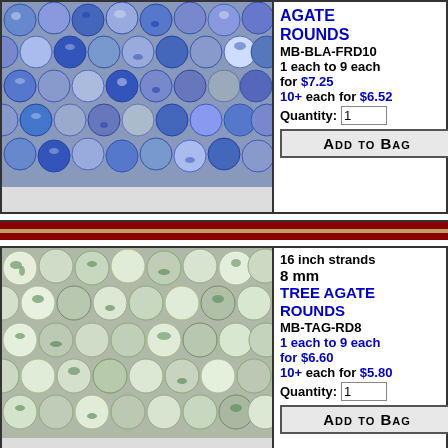[Figure (photo): Photo of blue agate round beads on strands, blue and white mottled pattern]
AGATE ROUNDS MB-BLA-FRD10 1 each to 9 each for $7.25 10+ each for $6.52 Quantity: 1 ADD TO BAG
[Figure (photo): Photo of tree agate round beads on strands, white with green dendritic pattern]
16 inch strands 8 mm TREE AGATE ROUNDS MB-TAG-RD8 1 each to 9 each for $6.60 10+ each for $5.80 Quantity: 1 ADD TO BAG